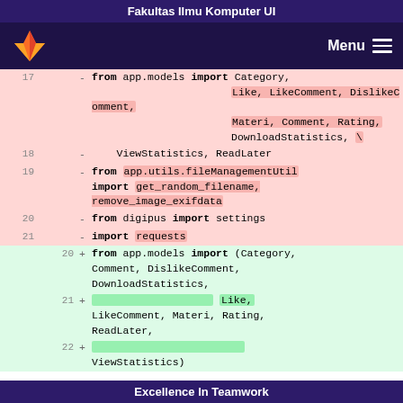Fakultas Ilmu Komputer UI
[Figure (screenshot): GitLab navigation bar with fox logo and Menu icon on dark purple background]
17  - from app.models import Category, Like, LikeComment, DislikeComment, Materi, Comment, Rating, DownloadStatistics, \
18  -     ViewStatistics, ReadLater
19  - from app.utils.fileManagementUtil import get_random_filename, remove_image_exifdata
20  - from digipus import settings
21  - import requests
20  + from app.models import (Category, Comment, DislikeComment, DownloadStatistics,
21  +                          Like, LikeComment, Materi, Rating, ReadLater,
22  +                          ViewStatistics)
Excellence In Teamwork